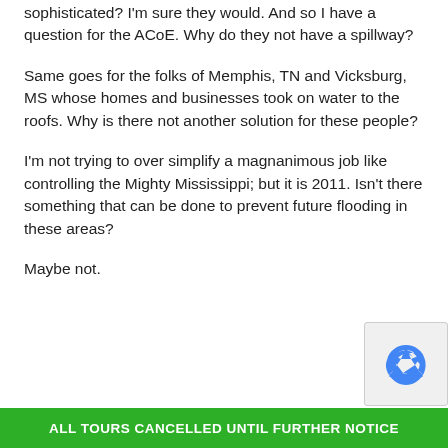sophisticated?  I'm sure they would.  And so I have a question for the ACoE.  Why do they not have a spillway?
Same goes for the folks of Memphis, TN and Vicksburg, MS whose homes and businesses took on water to the roofs.  Why is there not another solution for these people?
I'm not trying to over simplify a magnanimous job like controlling the Mighty Mississippi; but it is 2011.  Isn't there something that can be done to prevent future flooding in these areas?
Maybe not.
ALL TOURS CANCELLED UNTIL FURTHER NOTICE